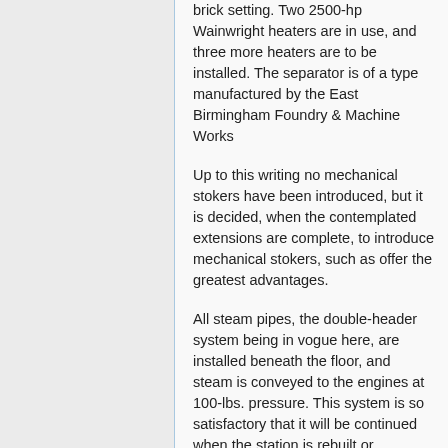brick setting. Two 2500-hp Wainwright heaters are in use, and three more heaters are to be installed. The separator is of a type manufactured by the East Birmingham Foundry & Machine Works
Up to this writing no mechanical stokers have been introduced, but it is decided, when the contemplated extensions are complete, to introduce mechanical stokers, such as offer the greatest advantages.
All steam pipes, the double-header system being in vogue here, are installed beneath the floor, and steam is conveyed to the engines at 100-lbs. pressure. This system is so satisfactory that it will be continued when the station is rebuilt or remodeled. Throughout the station Chapman valves are in general use, from 6 ins. upward, while for smaller sizes